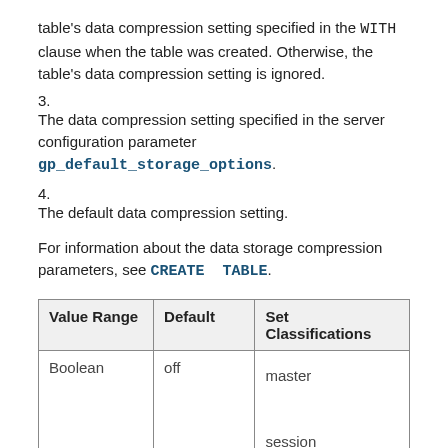table's data compression setting specified in the WITH clause when the table was created. Otherwise, the table's data compression setting is ignored.
3. The data compression setting specified in the server configuration parameter gp_default_storage_options.
4. The default data compression setting.
For information about the data storage compression parameters, see CREATE TABLE.
| Value Range | Default | Set Classifications |
| --- | --- | --- |
| Boolean | off | master

session

reload |